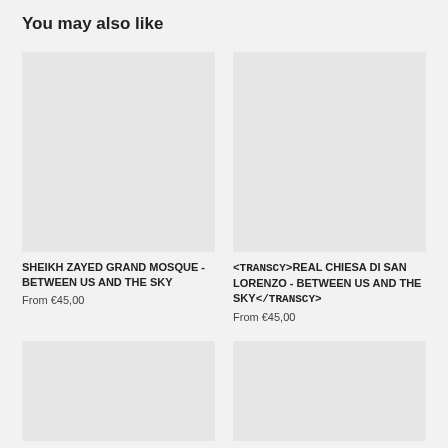You may also like
[Figure (photo): Placeholder image for Sheikh Zayed Grand Mosque product]
SHEIKH ZAYED GRAND MOSQUE - BETWEEN US AND THE SKY
From €45,00
[Figure (photo): Placeholder image for Real Chiesa Di San Lorenzo product]
<transcy>REAL CHIESA DI SAN LORENZO - BETWEEN US AND THE SKY</transcy>
From €45,00
[Figure (photo): Placeholder image bottom left]
[Figure (photo): Placeholder image bottom right]